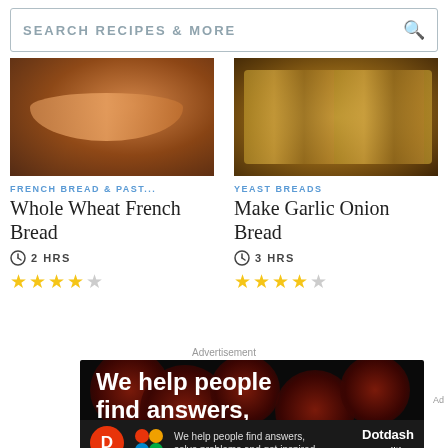SEARCH RECIPES & MORE
FRENCH BREAD & PAST...
[Figure (photo): Whole wheat French bread loaf on a wooden surface]
Whole Wheat French Bread
2 HRS
3 star rating out of 5
YEAST BREADS
[Figure (photo): Garlic onion bread pieces on a cutting board]
Make Garlic Onion Bread
3 HRS
4.5 star rating out of 5
Advertisement
[Figure (photo): Dotdash Meredith advertisement: We help people find answers, solve problems and get inspired.]